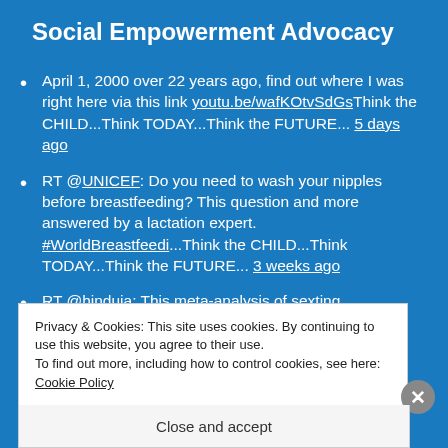Social Empowerment Advocacy
April 1, 2000 over 22 years ago, find out where I was right here via this link youtu.be/wafKOtvSdGs Think the CHILD...Think TODAY...Think the FUTURE... 5 days ago
RT @UNICEF: Do you need to wash your nipples before breastfeeding? This question and more answered by a lactation expert. #WorldBreastfeedi...Think the CHILD...Think TODAY...Think the FUTURE... 3 weeks ago
RT @hinduja: This meta-analysis of sexting…
Privacy & Cookies: This site uses cookies. By continuing to use this website, you agree to their use.
To find out more, including how to control cookies, see here: Cookie Policy
Close and accept